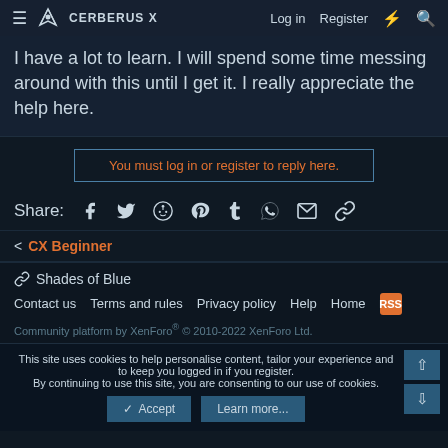CERBERUS X | Log in | Register
I have a lot to learn. I will spend some time messing around with this until I get it. I really appreciate the help here.
You must log in or register to reply here.
Share: (social icons: Facebook, Twitter, Reddit, Pinterest, Tumblr, WhatsApp, Email, Link)
< CX Beginner
🔗 Shades of Blue
Contact us   Terms and rules   Privacy policy   Help   Home   [RSS]
Community platform by XenForo® © 2010-2022 XenForo Ltd.
This site uses cookies to help personalise content, tailor your experience and to keep you logged in if you register.
By continuing to use this site, you are consenting to our use of cookies.
[Accept] [Learn more...]